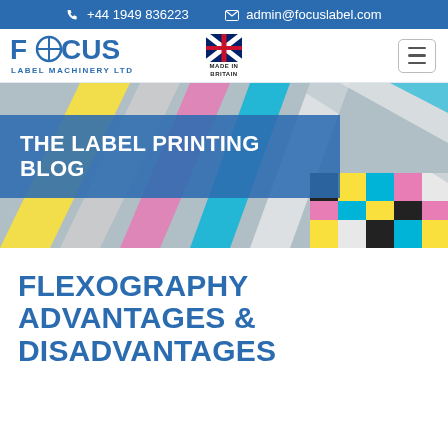+44 1949 836223   admin@focuslabel.com
[Figure (logo): Focus Label Machinery Ltd logo with Made in Britain badge and hamburger menu button]
[Figure (photo): Hero banner showing colorful CMYK printing ink fans and color swatches]
THE LABEL PRINTING BLOG
FLEXOGRAPHY ADVANTAGES & DISADVANTAGES